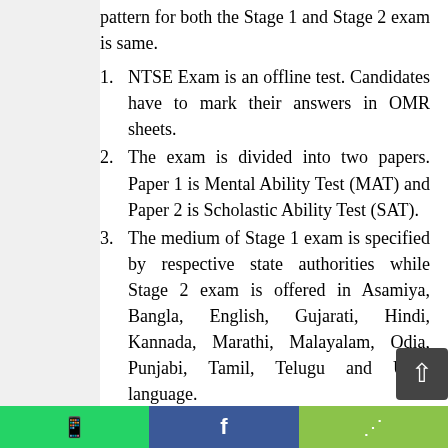pattern for both the Stage 1 and Stage 2 exam is same.
NTSE Exam is an offline test. Candidates have to mark their answers in OMR sheets.
The exam is divided into two papers. Paper 1 is Mental Ability Test (MAT) and Paper 2 is Scholastic Ability Test (SAT).
The medium of Stage 1 exam is specified by respective state authorities while Stage 2 exam is offered in Asamiya, Bangla, English, Gujarati, Hindi, Kannada, Marathi, Malayalam, Odia, Punjabi, Tamil, Telugu and Urdu language.
There is no negative marking applicable in NTSE 2020.